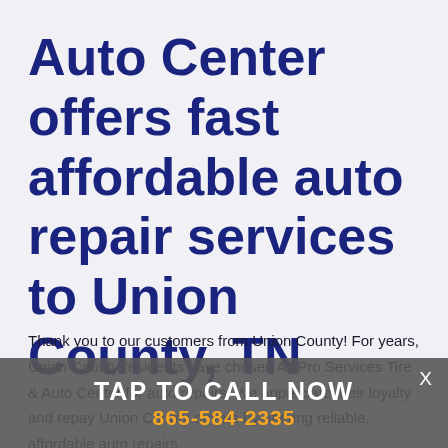Auto Center offers fast affordable auto repair services to Union County, TN
Thank you to our customers from Union County! For years, Union County residents have chosen All Pro Services Tire & Auto Center for auto repairs. We appreciate their loyalty and repay Union County drivers by offering reliable, affordable auto repairs.
[Figure (other): Call-to-action overlay bar with TAP TO CALL NOW text and phone number 865-584-2335 in orange, with X close button]
Are you new to Union County? Welcome! All Pro Services Tire & Auto Center is a leading auto repair shop near Union County with